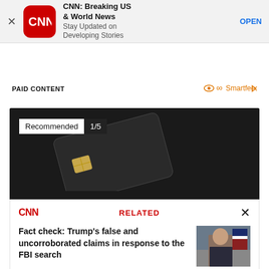[Figure (screenshot): CNN app advertisement banner with CNN logo, app name 'CNN: Breaking US & World News', subtitle 'Stay Updated on Developing Stories', and OPEN button]
PAID CONTENT
[Figure (logo): Smartfeed logo with infinity/eye icon and play button]
[Figure (screenshot): Recommended content card showing 'Recommended 1/5' badge over a dark background with a credit card image]
[Figure (screenshot): CNN Related articles panel showing 'Fact check: Trump's false and uncorroborated claims in response to the FBI search' with thumbnail image of Trump]